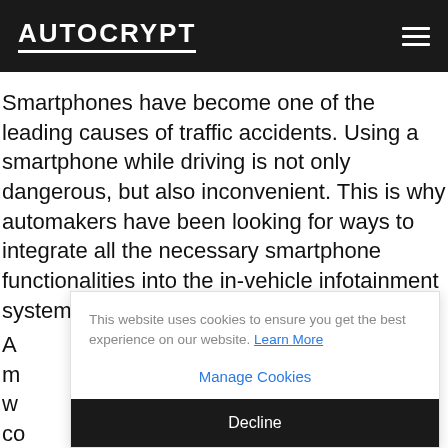AUTOCRYPT
Smartphones have become one of the leading causes of traffic accidents. Using a smartphone while driving is not only dangerous, but also inconvenient. This is why automakers have been looking for ways to integrate all the necessary smartphone functionalities into the in-vehicle infotainment system.
A... m... their w... co... a...
This website uses cookies to ensure you get the best experience on our website. Learn More
Manage Cookies
Decline